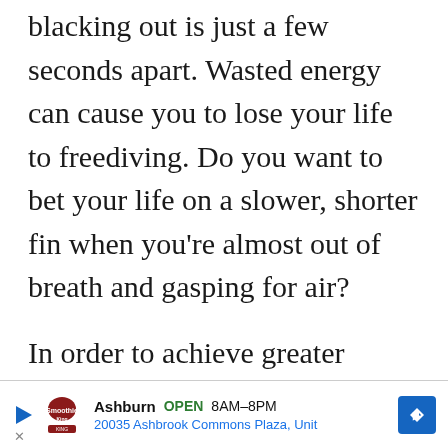between successfully resurfacing and blacking out is just a few seconds apart. Wasted energy can cause you to lose your life to freediving. Do you want to bet your life on a slower, shorter fin when you're almost out of breath and gasping for air?

In order to achieve greater results and push past your limits, you need to be wearing long freediving fins. They will help you rapidly dash to the bottom and back up again by providing the thrust you need
Ashburn OPEN 8AM–8PM 20035 Ashbrook Commons Plaza, Unit